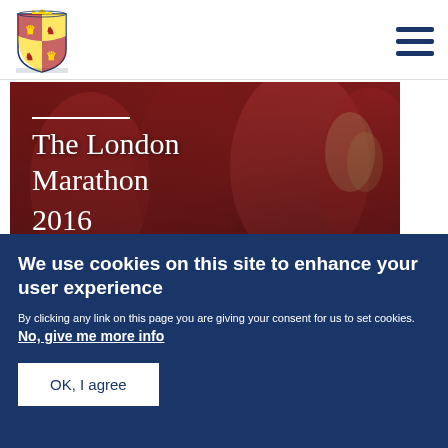UK Government / Royal site header with coat of arms logo and hamburger menu
[Figure (photo): Hero image showing London Marathon 2016 participants in red jackets holding trophies and medals, with white overlay text]
The London Marathon 2016
Published 24 April 2016
We use cookies on this site to enhance your user experience
By clicking any link on this page you are giving your consent for us to set cookies. No, give me more info
OK, I agree